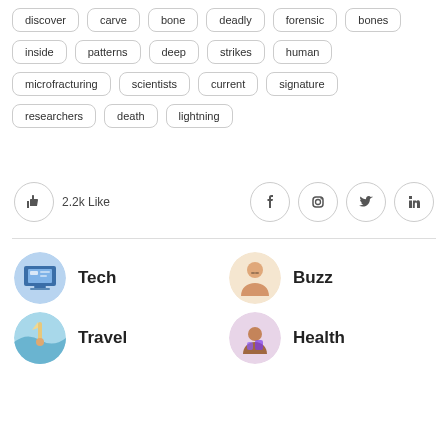discover
carve
bone
deadly
forensic
bones
inside
patterns
deep
strikes
human
microfracturing
scientists
current
signature
researchers
death
lightning
2.2k Like
[Figure (infographic): Social share bar with thumbs-up like button (2.2k Like) and Facebook, Instagram, Twitter, LinkedIn icons]
[Figure (illustration): Tech category thumbnail - circular image showing tech/computer screen]
Tech
[Figure (illustration): Buzz category thumbnail - circular image of person]
Buzz
[Figure (illustration): Travel category thumbnail - circular image of person outdoors]
Travel
[Figure (illustration): Health category thumbnail - circular image of food/health]
Health